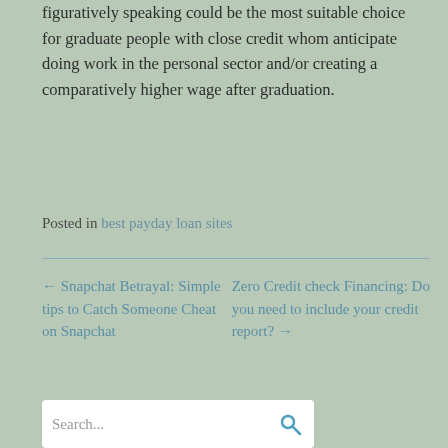figuratively speaking could be the most suitable choice for graduate people with close credit whom anticipate doing work in the personal sector and/or creating a comparatively higher wage after graduation.
Posted in best payday loan sites
← Snapchat Betrayal: Simple tips to Catch Someone Cheat on Snapchat
Zero Credit check Financing: Do you need to include your credit report? →
Search...